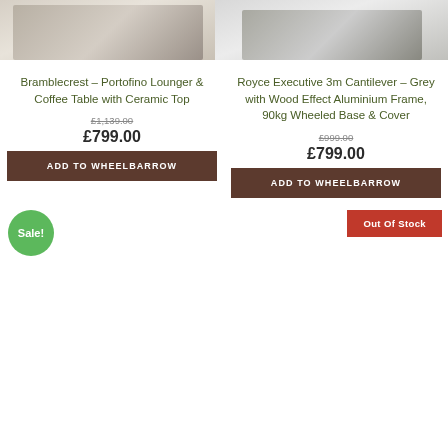[Figure (photo): Product photo of Bramblecrest Portofino Lounger and Coffee Table with Ceramic Top - partially visible at top of page]
[Figure (photo): Product photo of Royce Executive 3m Cantilever parasol - partially visible at top of page]
Bramblecrest – Portofino Lounger & Coffee Table with Ceramic Top
Royce Executive 3m Cantilever – Grey with Wood Effect Aluminium Frame, 90kg Wheeled Base & Cover
£1,139.00
£799.00
£999.00
£799.00
Add To Wheelbarrow
Add To Wheelbarrow
Sale!
Out Of Stock